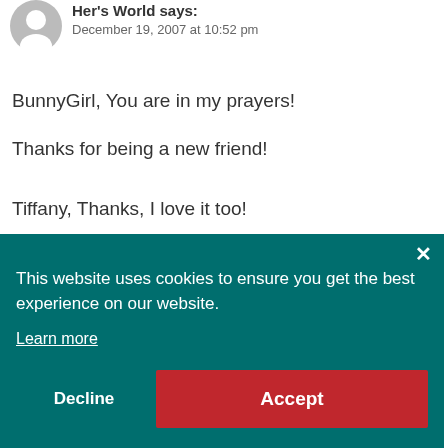[Figure (illustration): Generic user avatar icon — grey circle with white silhouette of a person]
Her's World says:
December 19, 2007 at 10:52 pm
BunnyGirl, You are in my prayers!
Thanks for being a new friend!
Tiffany, Thanks, I love it too!
This website uses cookies to ensure you get the best experience on our website.
Learn more
Decline
Accept